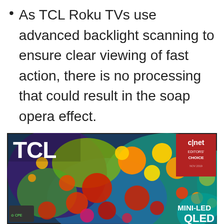As TCL Roku TVs use advanced backlight scanning to ensure clear viewing of fast action, there is no processing that could result in the soap opera effect.
[Figure (photo): TCL Mini-LED QLED television displaying a colorful abstract image of red, orange, yellow, and teal circular shapes. The TV shows the TCL logo in the upper left corner and a CNET Editors Choice badge in the upper right corner. Text 'MINI-LED QLED' appears in white in the lower right of the screen.]